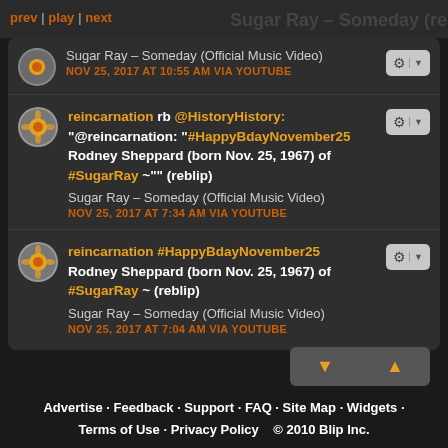prev | play | next   Sugar Ray – Someday (reblip)
Sugar Ray – Someday (Official Music Video)
NOV 25, 2017 AT 10:55 AM VIA YOUTUBE
reincarnation rb @HistoryHistory: "@reincarnation: "#HappyBdayNovember25 Rodney Sheppard (born Nov. 25, 1967) of #SugarRay ~"" (reblip)
Sugar Ray – Someday (Official Music Video)
NOV 25, 2017 AT 7:34 AM VIA YOUTUBE
reincarnation #HappyBdayNovember25 Rodney Sheppard (born Nov. 25, 1967) of #SugarRay ~ (reblip)
Sugar Ray – Someday (Official Music Video)
NOV 25, 2017 AT 7:04 AM VIA YOUTUBE
Advertise · Feedback · Support · FAQ · Site Map · Widgets · Terms of Use · Privacy Policy   © 2010 Blip Inc.